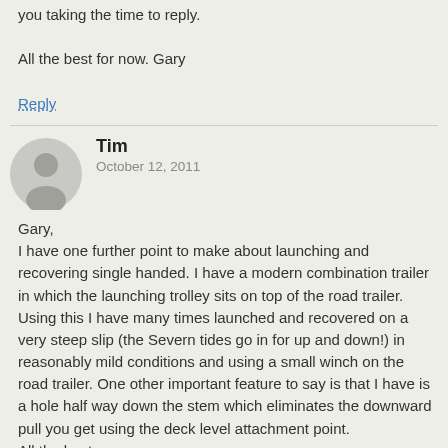you taking the time to reply.
All the best for now. Gary
Reply
Tim
October 12, 2011
Gary,
I have one further point to make about launching and recovering single handed. I have a modern combination trailer in which the launching trolley sits on top of the road trailer. Using this I have many times launched and recovered on a very steep slip (the Severn tides go in for up and down!) in reasonably mild conditions and using a small winch on the road trailer. One other important feature to say is that I have is a hole half way down the stem which eliminates the downward pull you get using the deck level attachment point.
All the best
Tim
Reply